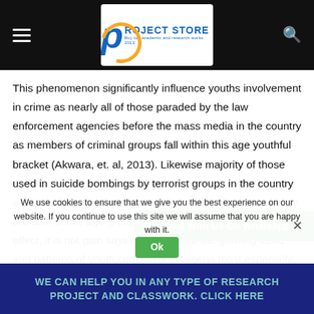PROJECT STORE — navigation header with logo
This phenomenon significantly influence youths involvement in crime as nearly all of those paraded by the law enforcement agencies before the mass media in the country as members of criminal groups fall within this age youthful bracket (Akwara, et. al, 2013). Likewise majority of those used in suicide bombings by terrorist groups in the country also fall within this age group. Those involved in insurgency are also of this age group (Solaja and Atere, 2015). To this effect, it is not gain saying the fact that the growing trend and patterns of youth criminality in Nigeria most especially in urban centers call for urgent attention to address.
[Figure (other): WhatsApp chat button overlay — green rounded button with WhatsApp icon and text 'Chat With Us On Whatsapp']
We use cookies to ensure that we give you the best experience on our website. If you continue to use this site we will assume that you are happy with it.
WE CAN HELP YOU IN ANY TYPE OF RESEARCH PROJECT AND CLASSWORK. CLICK HERE